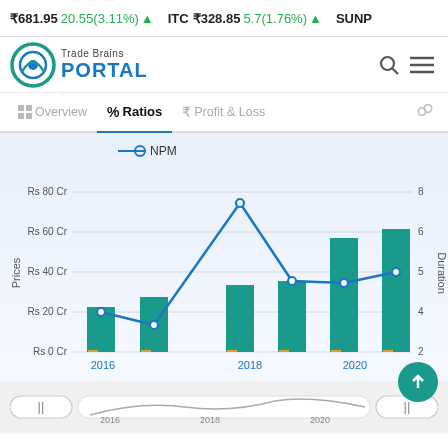₹681.95 20.55(3.11%) ▲   ITC ₹328.85 5.7(1.76%) ▲   SUNP
[Figure (logo): Trade Brains Portal logo with teal circular icon and blue PORTAL text]
[Figure (infographic): Navigation tab bar showing Overview, Ratios (active), and Profit & Loss tabs]
[Figure (grouped-bar-chart): NPM]
[Figure (infographic): Bottom scroll/minimap bar with 2016, 2018, 2020 labels and range handles]